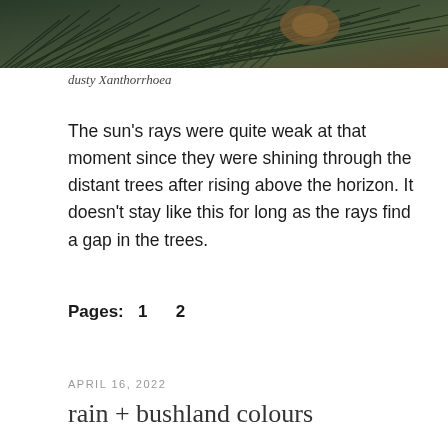[Figure (photo): Close-up photograph of dusty Xanthorrhoea (grass tree) foliage with dark needle-like leaves and a brown woody stem, taken from above at an angle.]
dusty Xanthorrhoea
The sun's rays were quite weak at that moment since they were shining through the distant trees after rising above the horizon. It doesn't stay like this for long as the rays find a gap in the trees.
Pages:  1     2
APRIL 16, 2022
rain + bushland colours